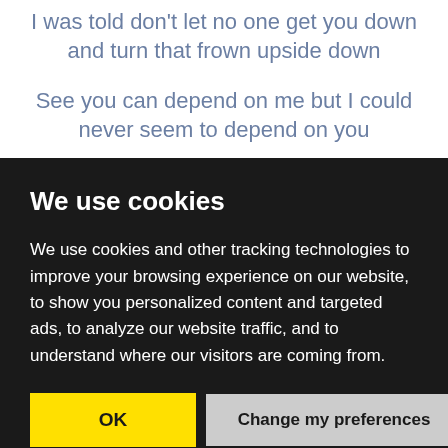I was told don't let no one get you down and turn that frown upside down
See you can depend on me but I could never seem to depend on you
We use cookies
We use cookies and other tracking technologies to improve your browsing experience on our website, to show you personalized content and targeted ads, to analyze our website traffic, and to understand where our visitors are coming from.
OK
Change my preferences